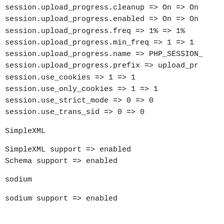session.upload_progress.cleanup => On => On
session.upload_progress.enabled => On => On
session.upload_progress.freq => 1% => 1%
session.upload_progress.min_freq => 1 => 1
session.upload_progress.name => PHP_SESSION_UPLOAD_PROGRESS
session.upload_progress.prefix => upload_progress_
session.use_cookies => 1 => 1
session.use_only_cookies => 1 => 1
session.use_strict_mode => 0 => 0
session.use_trans_sid => 0 => 0
SimpleXML
SimpleXML support => enabled
Schema support => enabled
sodium
sodium support => enabled